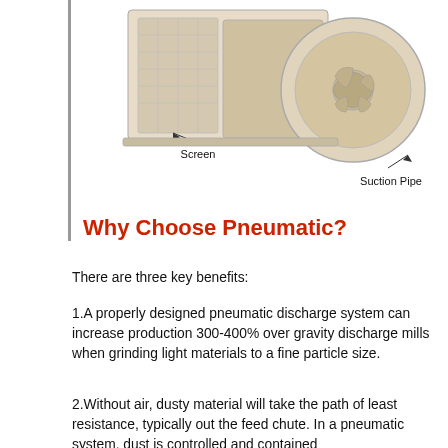[Figure (engineering-diagram): Cross-sectional technical illustration of a pneumatic mill/grinder showing internal components. Two labeled parts: 'Screen' (pointing to a mesh/screen component on the left side) and 'Suction Pipe' (pointing to a pipe on the right side). The machine has a complex interior with rotating parts visible.]
Why Choose Pneumatic?
There are three key benefits:
1.A properly designed pneumatic discharge system can increase production 300-400% over gravity discharge mills when grinding light materials to a fine particle size.
2.Without air, dusty material will take the path of least resistance, typically out the feed chute. In a pneumatic system, dust is controlled and contained